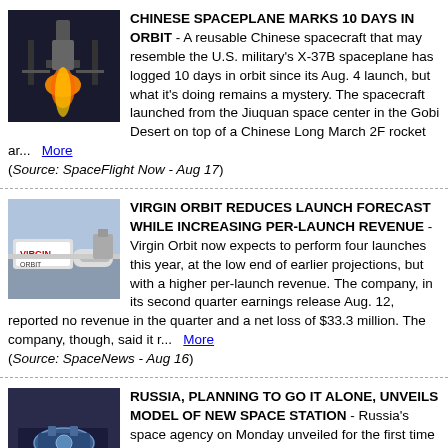CHINESE SPACEPLANE MARKS 10 DAYS IN ORBIT - A reusable Chinese spacecraft that may resemble the U.S. military's X-37B spaceplane has logged 10 days in orbit since its Aug. 4 launch, but what it's doing remains a mystery. The spacecraft launched from the Jiuquan space center in the Gobi Desert on top of a Chinese Long March 2F rocket ar... More (Source: SpaceFlight Now - Aug 17)
[Figure (photo): Rocket launch at night with bright flame and launch structure]
VIRGIN ORBIT REDUCES LAUNCH FORECAST WHILE INCREASING PER-LAUNCH REVENUE - Virgin Orbit now expects to perform four launches this year, at the low end of earlier projections, but with a higher per-launch revenue. The company, in its second quarter earnings release Aug. 12, reported no revenue in the quarter and a net loss of $33.3 million. The company, though, said it r... More (Source: SpaceNews - Aug 16)
[Figure (photo): Virgin Orbit aircraft and rocket on airstrip]
RUSSIA, PLANNING TO GO IT ALONE, UNVEILS MODEL OF NEW SPACE STATION - Russia's space agency on Monday unveiled for the first time a physical model of what a planned new Russian-built space station will look like, suggesting Moscow is serious about abandoning the International
[Figure (photo): People examining a model of a space station]